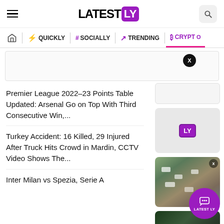LATESTLY
QUICKLY | # SOCIALLY | TRENDING | CRYPTO
Premier League 2022–23 Points Table Updated: Arsenal Go on Top With Third Consecutive Win,...
[Figure (logo): Latestly LY logo placeholder thumbnail]
Turkey Accident: 16 Killed, 29 Injured After Truck Hits Crowd in Mardin, CCTV Video Shows The...
[Figure (photo): Aerial view of traffic/crowd scene in Mardin, Turkey]
Inter Milan vs Spezia, Serie A